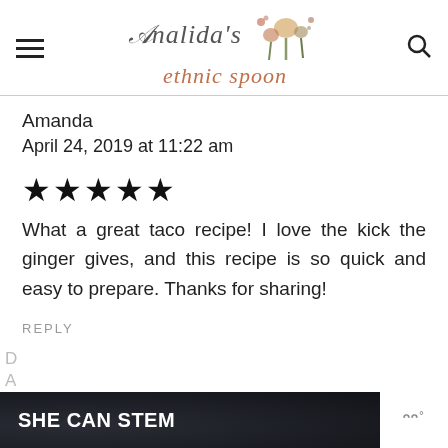Analida's ethnic spoon
Amanda
April 24, 2019 at 11:22 am
[Figure (other): Five filled black stars representing a 5-star rating]
What a great taco recipe! I love the kick the ginger gives, and this recipe is so quick and easy to prepare. Thanks for sharing!
REPLY
[Figure (other): Advertisement banner with dark background showing 'SHE CAN STEM' text in white bold font, with a logo on the right side]